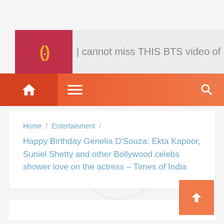[Figure (logo): Red square logo with orange parentheses and white dot symbol]
cannot miss THIS BTS video of Mammootty's 'Rorse
[Figure (screenshot): Orange navigation bar with home icon, hamburger menu, and search icon]
Home / Entertainment /
Happy Birthday Genelia D’Souza: Ekta Kapoor, Suniel Shetty and other Bollywood celebs shower love on the actress – Times of India
[Figure (illustration): Scroll to top button — orange square with upward chevron arrow]